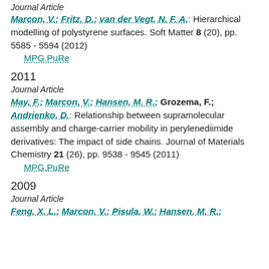Journal Article
Marcon, V.; Fritz, D.; van der Vegt, N. F. A.: Hierarchical modelling of polystyrene surfaces. Soft Matter 8 (20), pp. 5585 - 5594 (2012)
MPG.PuRe
2011
Journal Article
May, F.; Marcon, V.; Hansen, M. R.; Grozema, F.; Andrienko, D.: Relationship between supramolecular assembly and charge-carrier mobility in perylenediimide derivatives: The impact of side chains. Journal of Materials Chemistry 21 (26), pp. 9538 - 9545 (2011)
MPG.PuRe
2009
Journal Article
Feng, X. L.; Marcon, V.; Pisula, W.; Hansen, M. R.;